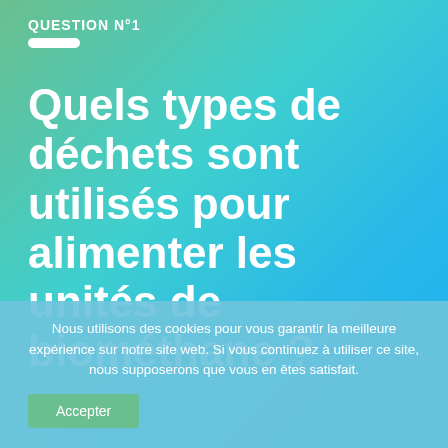QUESTION N°1
Quels types de déchets sont utilisés pour alimenter les unités de biométhane ?
Nous utilisons des cookies pour vous garantir la meilleure expérience sur notre site web. Si vous continuez à utiliser ce site, nous supposerons que vous en êtes satisfait.
Accepter